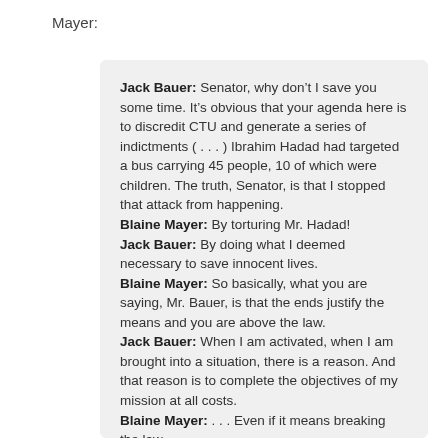Mayer:
Jack Bauer: Senator, why don’t I save you some time. It’s obvious that your agenda here is to discredit CTU and generate a series of indictments ( . . . ) Ibrahim Hadad had targeted a bus carrying 45 people, 10 of which were children. The truth, Senator, is that I stopped that attack from happening.
Blaine Mayer: By torturing Mr. Hadad!
Jack Bauer: By doing what I deemed necessary to save innocent lives.
Blaine Mayer: So basically, what you are saying, Mr. Bauer, is that the ends justify the means and you are above the law.
Jack Bauer: When I am activated, when I am brought into a situation, there is a reason. And that reason is to complete the objectives of my mission at all costs.
Blaine Mayer: . . . Even if it means breaking the law.
Jack Bauer: For a combat soldier, the difference between success and failure is your ability to adapt to your enemy. The people that I deal with, they don’t care about your rules. All they care about is a result. My job is to stop them from completing their objective at all